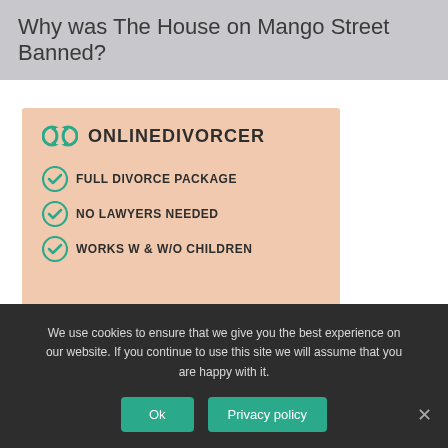Why was The House on Mango Street Banned?
[Figure (infographic): OnlineDivorcer advertisement banner with logo (infinity-like chain link icon in teal), brand name ONLINEDIVORCER, and three blue checkmark bullet points: FULL DIVORCE PACKAGE, NO LAWYERS NEEDED, WORKS W & W/O CHILDREN. Background is peach/salmon color.]
We use cookies to ensure that we give you the best experience on our website. If you continue to use this site we will assume that you are happy with it.
Ok
Privacy policy